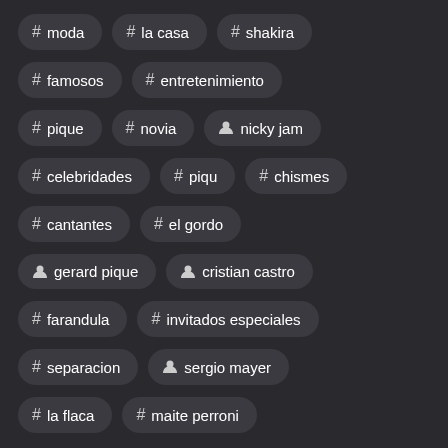# moda
# la casa
# shakira
# famosos
# entretenimiento
# pique
# novia
person nicky jam
# celebridades
# piqu
# chismes
# cantantes
# el gordo
person gerard pique
person cristian castro
# farandula
# invitados especiales
# separacion
person sergio mayer
# la flaca
# maite perroni